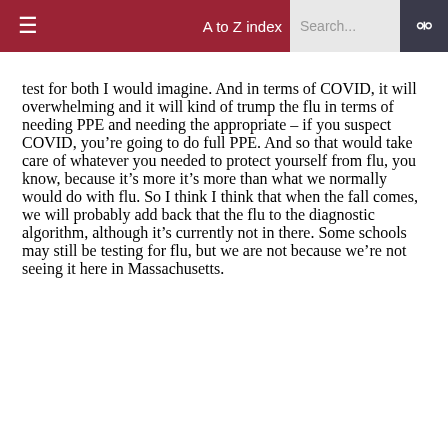A to Z index  Search...
test for both I would imagine. And in terms of COVID, it will overwhelming and it will kind of trump the flu in terms of needing PPE and needing the appropriate – if you suspect COVID, you're going to do full PPE. And so that would take care of whatever you needed to protect yourself from flu, you know, because it's more it's more than what we normally would do with flu. So I think I think that when the fall comes, we will probably add back that the flu to the diagnostic algorithm, although it's currently not in there. Some schools may still be testing for flu, but we are not because we're not seeing it here in Massachusetts.